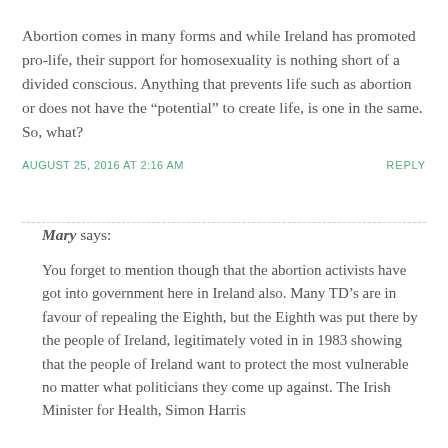Abortion comes in many forms and while Ireland has promoted pro-life, their support for homosexuality is nothing short of a divided conscious. Anything that prevents life such as abortion or does not have the “potential” to create life, is one in the same. So, what?
AUGUST 25, 2016 AT 2:16 AM
REPLY
Mary says:
You forget to mention though that the abortion activists have got into government here in Ireland also. Many TD’s are in favour of repealing the Eighth, but the Eighth was put there by the people of Ireland, legitimately voted in in 1983 showing that the people of Ireland want to protect the most vulnerable no matter what politicians they come up against. The Irish Minister for Health, Simon Harris